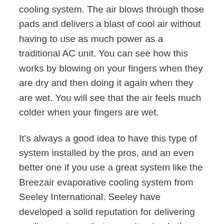cooling system. The air blows through those pads and delivers a blast of cool air without having to use as much power as a traditional AC unit. You can see how this works by blowing on your fingers when they are dry and then doing it again when they are wet. You will see that the air feels much colder when your fingers are wet.
It's always a good idea to have this type of system installed by the pros, and an even better one if you use a great system like the Breezair evaporative cooling system from Seeley International. Seeley have developed a solid reputation for delivering cooling systems that are quite simply the best on the market. Once you have it installed in your home or business, you will very quickly start reaping all of the benefits that it provides.
Financial savings